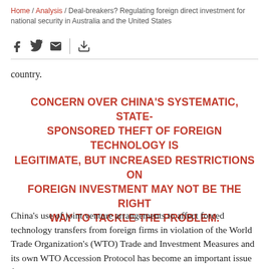Home / Analysis / Deal-breakers? Regulating foreign direct investment for national security in Australia and the United States
country.
CONCERN OVER CHINA'S SYSTEMATIC, STATE-SPONSORED THEFT OF FOREIGN TECHNOLOGY IS LEGITIMATE, BUT INCREASED RESTRICTIONS ON FOREIGN INVESTMENT MAY NOT BE THE RIGHT WAY TO TACKLE THE PROBLEM.
China's use of joint venture arrangements to affect forced technology transfers from foreign firms in violation of the World Trade Organization's (WTO) Trade and Investment Measures and its own WTO Accession Protocol has become an important issue for the United States and a